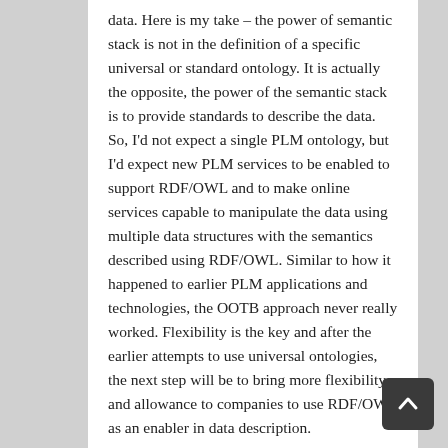data. Here is my take – the power of semantic stack is not in the definition of a specific universal or standard ontology. It is actually the opposite, the power of the semantic stack is to provide standards to describe the data. So, I'd not expect a single PLM ontology, but I'd expect new PLM services to be enabled to support RDF/OWL and to make online services capable to manipulate the data using multiple data structures with the semantics described using RDF/OWL. Similar to how it happened to earlier PLM applications and technologies, the OOTB approach never really worked. Flexibility is the key and after the earlier attempts to use universal ontologies, the next step will be to bring more flexibility and allowance to companies to use RDF/OWL as an enabler in data description.